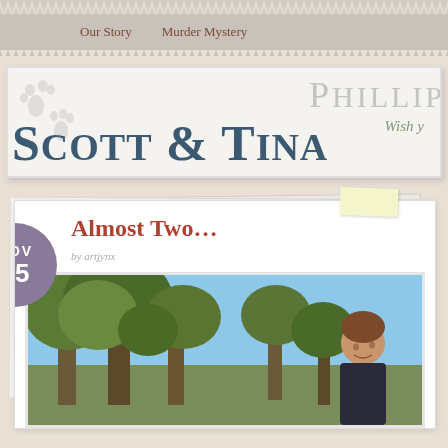Our Story   Murder Mystery
Scott & Tina Phillips
Almost Two…
by artjynx
[Figure (photo): Photo of a young child (toddler) outdoors near trees with a blue sky background]